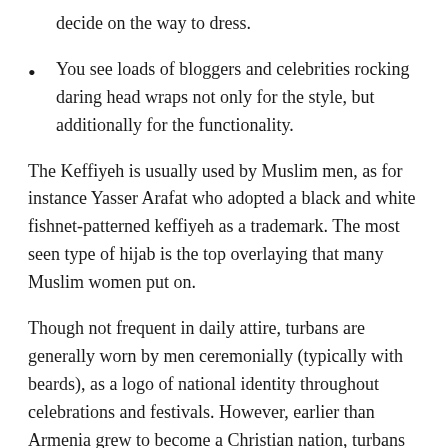You see loads of bloggers and celebrities rocking daring head wraps not only for the style, but additionally for the functionality.
The Keffiyeh is usually used by Muslim men, as for instance Yasser Arafat who adopted a black and white fishnet-patterned keffiyeh as a trademark. The most seen type of hijab is the top overlaying that many Muslim women put on.
Though not frequent in daily attire, turbans are generally worn by men ceremonially (typically with beards), as a logo of national identity throughout celebrations and festivals. However, earlier than Armenia grew to become a Christian nation, turbans have been a common part of the every day attire, simply as in different Middle Eastern countries. The Baloch persons are famous for their giant turbans that are worn with both ends hanging from the edges or as a loop